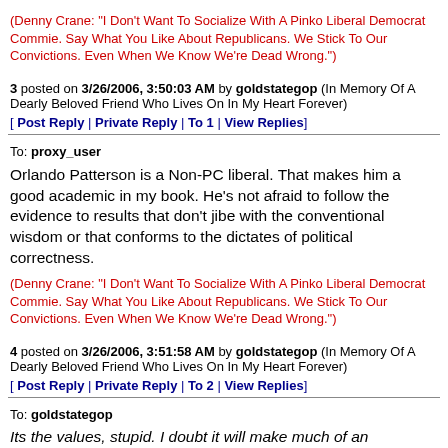(Denny Crane: "I Don't Want To Socialize With A Pinko Liberal Democrat Commie. Say What You Like About Republicans. We Stick To Our Convictions. Even When We Know We're Dead Wrong.")
3 posted on 3/26/2006, 3:50:03 AM by goldstategop (In Memory Of A Dearly Beloved Friend Who Lives On In My Heart Forever)
[ Post Reply | Private Reply | To 1 | View Replies]
To: proxy_user
Orlando Patterson is a Non-PC liberal. That makes him a good academic in my book. He's not afraid to follow the evidence to results that don't jibe with the conventional wisdom or that conforms to the dictates of political correctness.
(Denny Crane: "I Don't Want To Socialize With A Pinko Liberal Democrat Commie. Say What You Like About Republicans. We Stick To Our Convictions. Even When We Know We're Dead Wrong.")
4 posted on 3/26/2006, 3:51:58 AM by goldstategop (In Memory Of A Dearly Beloved Friend Who Lives On In My Heart Forever)
[ Post Reply | Private Reply | To 2 | View Replies]
To: goldstategop
Its the values, stupid. I doubt it will make much of an impression